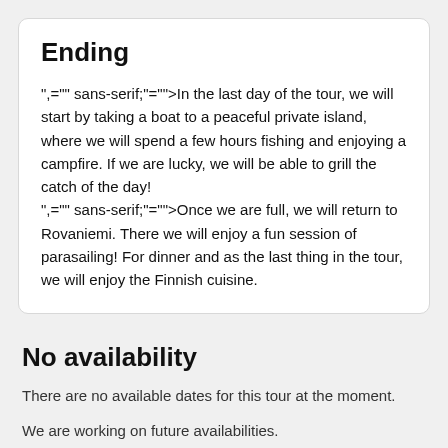Ending
",="" sans-serif;"="">In the last day of the tour, we will start by taking a boat to a peaceful private island, where we will spend a few hours fishing and enjoying a campfire. If we are lucky, we will be able to grill the catch of the day!
",="" sans-serif;"="">Once we are full, we will return to Rovaniemi. There we will enjoy a fun session of parasailing! For dinner and as the last thing in the tour, we will enjoy the Finnish cuisine.
No availability
There are no available dates for this tour at the moment.
We are working on future availabilities.